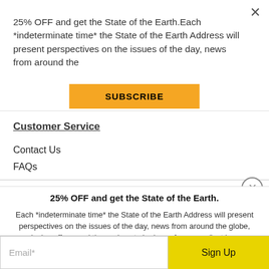25% OFF and get the State of the Earth.Each *indeterminate time* the State of the Earth Address will present perspectives on the issues of the day, news from around the
SUBSCRIBE
Customer Service
Contact Us
FAQs
25% OFF and get the State of the Earth.
Each *indeterminate time* the State of the Earth Address will present perspectives on the issues of the day, news from around the globe, exclusive offers, and tips on how to be less of a goose (just in case anyone needs those)…
Email*
Sign Up